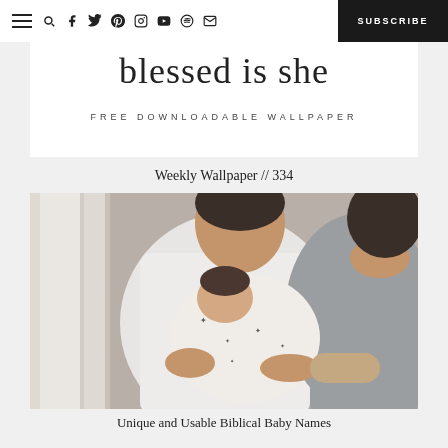Navigation bar with hamburger menu, search, facebook, twitter, pinterest, instagram, youtube, spotify, email icons, and SUBSCRIBE button
[Figure (illustration): Blessed is She script logo with 'FREE DOWNLOADABLE WALLPAPER' subtitle]
Weekly Wallpaper // 334
[Figure (photo): A couple holding a newborn baby swaddled in a white blanket with stars, standing near a window. Man in white t-shirt, woman in grey top.]
Unique and Usable Biblical Baby Names